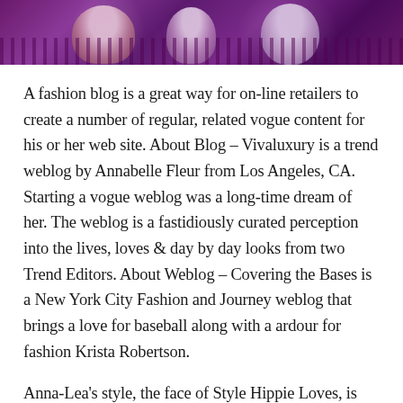[Figure (photo): A purple-tinted photo banner showing fashion event attendees at the top of the page]
A fashion blog is a great way for on-line retailers to create a number of regular, related vogue content for his or her web site. About Blog – Vivaluxury is a trend weblog by Annabelle Fleur from Los Angeles, CA. Starting a vogue weblog was a long-time dream of her. The weblog is a fastidiously curated perception into the lives, loves & day by day looks from two Trend Editors. About Weblog – Covering the Bases is a New York City Fashion and Journey weblog that brings a love for baseball along with a ardour for fashion Krista Robertson.
Anna-Lea's style, the face of Style Hippie Loves, is driven by authencity, bold colours and the combo of